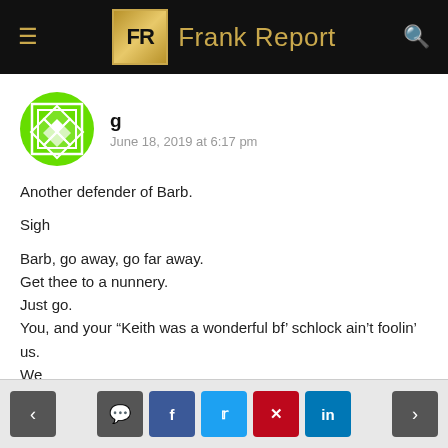Frank Report
g
June 18, 2019 at 6:17 pm
Another defender of Barb.

Sigh

Barb, go away, go far away.
Get thee to a nunnery.
Just go.
You, and your “Keith was a wonderful bf’ schlock ain’t foolin’ us.
We
Don’t
Want
You!
< [comment] [f] [tweet] [pinterest] [in] >